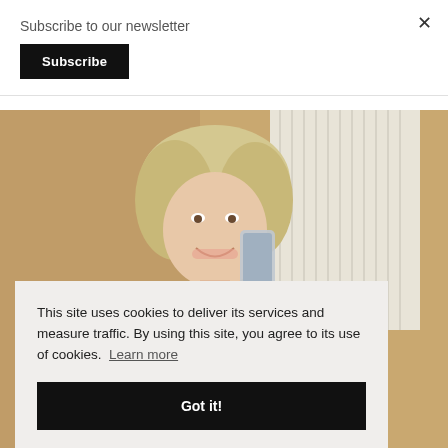Subscribe to our newsletter
Subscribe
×
[Figure (photo): Woman with blonde wavy hair taking a mirror selfie with a phone, standing in a room with vertical blinds and warm-toned walls]
This site uses cookies to deliver its services and measure traffic. By using this site, you agree to its use of cookies.  Learn more
Got it!